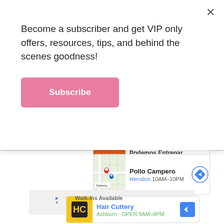Become a subscriber and get VIP only offers, resources, tips, and behind the scenes goodness!
[Figure (other): Pink Subscribe button]
[Figure (screenshot): Partially visible ad card with orange image and text 'Podemos Entregar' (cut off at top)]
[Figure (screenshot): Ad card for Pollo Campero showing a map thumbnail with location pins, business name 'Pollo Campero', location 'Herndon 10AM-10PM', and a blue navigation arrow button]
HEY Y'ALL!
[Figure (screenshot): Ad card for Hair Cuttery showing HC logo, business name, location in Ashburn, OPEN 9AM-8PM, walk-ins available, and navigation arrow]